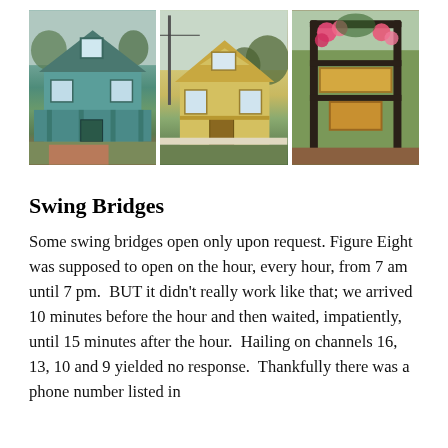[Figure (photo): Three photographs arranged horizontally: a teal/blue house with a porch on the left, a yellow Victorian-style house in the middle, and a decorative sign/gate structure with flowers on the right.]
Swing Bridges
Some swing bridges open only upon request. Figure Eight was supposed to open on the hour, every hour, from 7 am until 7 pm.  BUT it didn't really work like that; we arrived 10 minutes before the hour and then waited, impatiently, until 15 minutes after the hour.  Hailing on channels 16, 13, 10 and 9 yielded no response.  Thankfully there was a phone number listed in